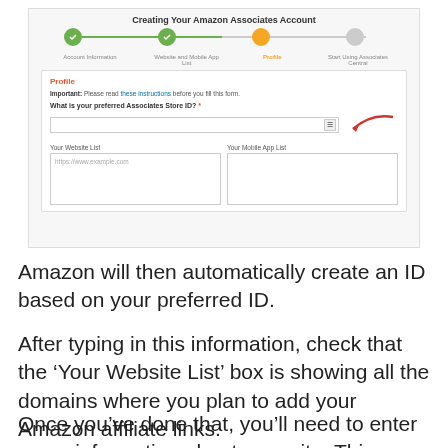[Figure (screenshot): Screenshot of Amazon Associates account creation page showing 'Creating Your Amazon Associates Account' with a progress bar (Account Information, Website and Mobile App List, Profile, Start Using Associates Central), and a Profile form with fields for Associates Store ID, Your Website List (showing https://www.example.com placeholder), and Your Mobile App List. A red arrow points to the Store ID input field.]
Amazon will then automatically create an ID based on your preferred ID.
After typing in this information, check that the ‘Your Website List’ box is showing all the domains where you plan to add your Amazon affiliate links.
Once you’ve done that, you’ll need to enter some information about your site. This includes the topics